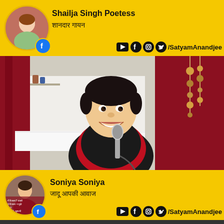[Figure (screenshot): Social media comment/interaction screenshot. Top yellow banner with circular avatar photo of Shailja Singh Poetess, Facebook icon, name 'Shailja Singh Poetess', Hindi text 'शानदार गायन', and social media icons with handle /SatyamAnandjee. Center: photo of a man in black and red vest singing into a microphone, smiling, in a decorated room with red curtains. Bottom yellow banner with circular avatar, name 'Soniya Soniya', Hindi text 'जादू आपकी आवाज', social icons /SatyamAnandjee. Partial image strip at very bottom.]